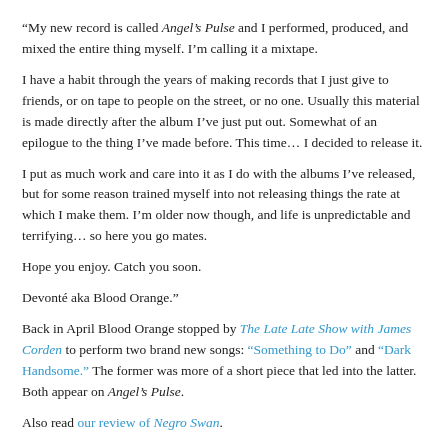“My new record is called Angel’s Pulse and I performed, produced, and mixed the entire thing myself. I’m calling it a mixtape.
I have a habit through the years of making records that I just give to friends, or on tape to people on the street, or no one. Usually this material is made directly after the album I’ve just put out. Somewhat of an epilogue to the thing I’ve made before. This time… I decided to release it.
I put as much work and care into it as I do with the albums I’ve released, but for some reason trained myself into not releasing things the rate at which I make them. I’m older now though, and life is unpredictable and terrifying… so here you go mates.
Hope you enjoy. Catch you soon.
Devonté aka Blood Orange.”
Back in April Blood Orange stopped by The Late Late Show with James Corden to perform two brand new songs: “Something to Do” and “Dark Handsome.” The former was more of a short piece that led into the latter. Both appear on Angel’s Pulse.
Also read our review of Negro Swan.
Previously Hynes shared videos for two new songs from Negro Swan.